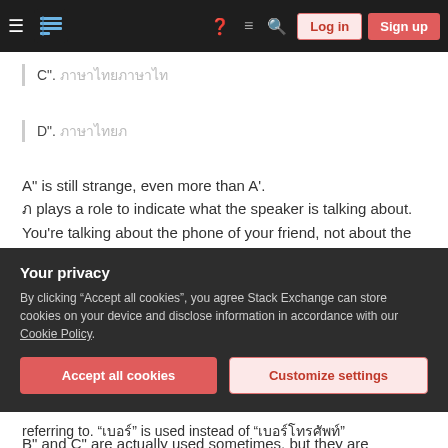[Figure (screenshot): Stack Exchange navigation bar with hamburger menu, logo, help/chat/search icons, Log in and Sign up buttons]
C". ภาษาไทย (Thai script characters)
D". ภาษาไทย (Thai script characters)
A" is still strange, even more than A'.
ภ plays a role to indicate what the speaker is talking about. You're talking about the phone of your friend, not about the phone number, so A, the first one, is the most natural.
B" and C" are actually used sometimes, but they are
Your privacy
By clicking "Accept all cookies", you agree Stack Exchange can store cookies on your device and disclose information in accordance with our Cookie Policy.
Accept all cookies
Customize settings
referring to. "เบอร์" is used instead of "เบอร์โทรศัพท์"